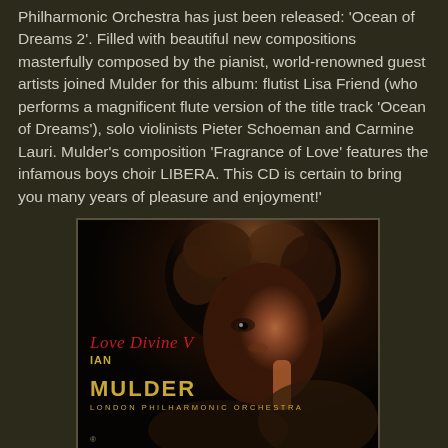Philharmonic Orchestra has just been released: 'Ocean of Dreams 2'. Filled with beautiful new compositions masterfully composed by the pianist, world-renowned guest artists joined Mulder for this album: flutist Lisa Friend (who performs a magnificent flute version of the title track 'Ocean of Dreams'), solo violinists Pieter Schoeman and Carmine Lauri. Mulder's composition 'Fragrance of Love' features the infamous boys choir LIBERA. This CD is certain to bring you many years of pleasure and enjoyment!'
[Figure (photo): Album cover for 'Love Divine V' by Ian Mulder with the London Philharmonic Orchestra. Shows a close-up portrait of a man with curly dark hair against a dark background. Text on cover reads 'Love Divine V', 'Ian Mulder', 'London Philharmonic Orchestra' in red and gold lettering.]